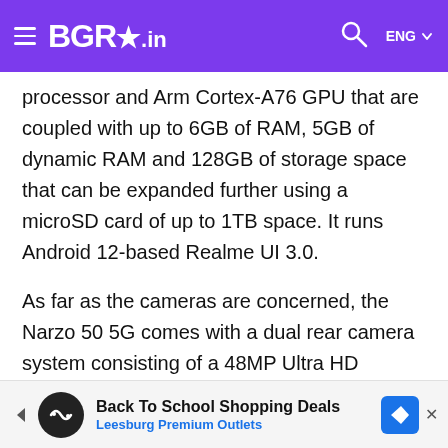BGR.in
processor and Arm Cortex-A76 GPU that are coupled with up to 6GB of RAM, 5GB of dynamic RAM and 128GB of storage space that can be expanded further using a microSD card of up to 1TB space. It runs Android 12-based Realme UI 3.0.
As far as the cameras are concerned, the Narzo 50 5G comes with a dual rear camera system consisting of a 48MP Ultra HD primary camera and a B&W portrait lens. On the front, it has an 8MP selfie camera. Talking about the battery, the Narzo 50 5G is backed by a 5,000mAh battery with support for 33W dart charge technology. Additional features include a side-mounted fingerprint sensor and dual stereo speakers.
[Figure (other): Advertisement banner: Back To School Shopping Deals - Leesburg Premium Outlets]